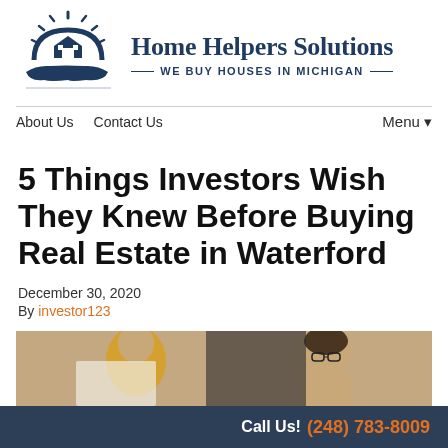[Figure (logo): Home Helpers Solutions logo: sun/house icon above an open hand, dark navy blue, with company name and tagline 'WE BUY HOUSES IN MICHIGAN']
About Us   Contact Us   Menu ▼
5 Things Investors Wish They Knew Before Buying Real Estate in Waterford
December 30, 2020
By investor123
[Figure (photo): A person reviewing documents, partially visible at bottom of page]
Call Us! (248) 783-8009